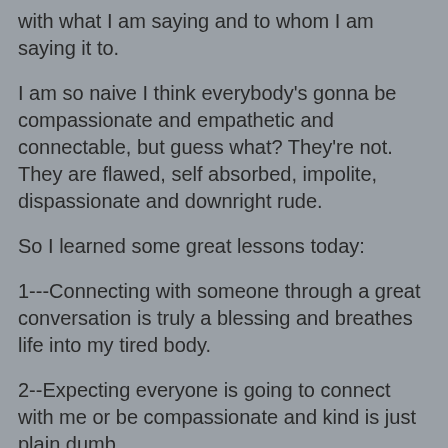with what I am saying and to whom I am saying it to.
I am so naive I think everybody's gonna be compassionate and empathetic and connectable, but guess what? They're not. They are flawed, self absorbed, impolite, dispassionate and downright rude.
So I learned some great lessons today:
1---Connecting with someone through a great conversation is truly a blessing and breathes life into my tired body.
2--Expecting everyone is going to connect with me or be compassionate and kind is just plain dumb.
3--Stop telling any ol' person what I'm going through or how I'm feeling 'cause I end up angry if they are either rude, apathetic, or just plain mean. And stop